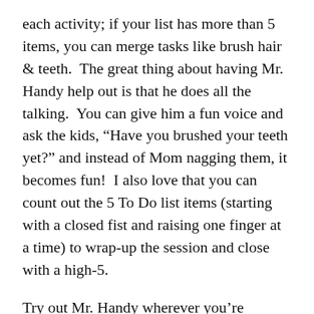each activity; if your list has more than 5 items, you can merge tasks like brush hair & teeth.  The great thing about having Mr. Handy help out is that he does all the talking.  You can give him a fun voice and ask the kids, “Have you brushed your teeth yet?” and instead of Mom nagging them, it becomes fun!  I also love that you can count out the 5 To Do list items (starting with a closed fist and raising one finger at a time) to wrap-up the session and close with a high-5.
Try out Mr. Handy wherever you’re finding challenges in your daily routine: With good table manners, with homework, with remembering things to bring out the door on the way to school, etc.  P.S. – The other thing that we’ve found very helpful in the morning is to keep sunscreen and an extra toothbrush for each kid in the kitchen so we can keep the momentum going after